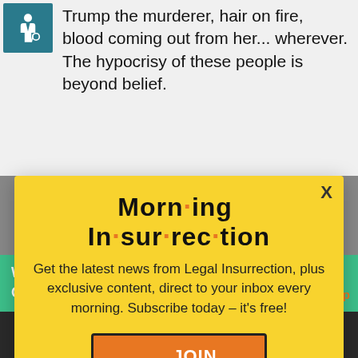Trump the murderer, hair on fire, blood coming out from her... wherever. The hypocrisy of these people is beyond belief.
[Figure (screenshot): Morning Insurrection newsletter signup modal overlay on yellow background with JOIN NOW button]
handled by the state and
[Figure (infographic): Green Fiverr ad banner: Working from home? Get your projects done on fiverr]